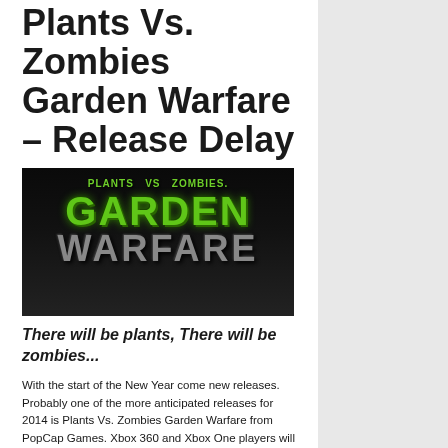Plants Vs. Zombies Garden Warfare – Release Delay
[Figure (illustration): Plants vs. Zombies Garden Warfare game logo on a dark background. The top shows 'PLANTS vs ZOMBIES' in green text, 'GARDEN' in large bright green letters, and 'WARFARE' in large grey/metallic letters below.]
There will be plants, There will be zombies...
With the start of the New Year come new releases. Probably one of the more anticipated releases for 2014 is Plants Vs. Zombies Garden Warfare from PopCap Games. Xbox 360 and Xbox One players will have to wait an additional week for EA Games to release Garden Warfare. Originally the release was planned for